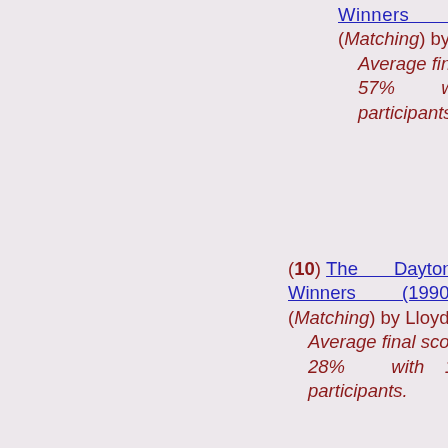Winners (2000s... (Matching) by Lloyd A. Average final score 57% with 1 participants.
(10) The Daytona 50 Winners (1990s... (Matching) by Lloyd A. Average final score 28% with 1 participants.
(10) The Daytona 50 Winners (1980s... (Matching) by Lloyd A. Average final score 46% with participants.
(10) The Daytona 50 Winners (1970s... (Matching) by Lloyd A.